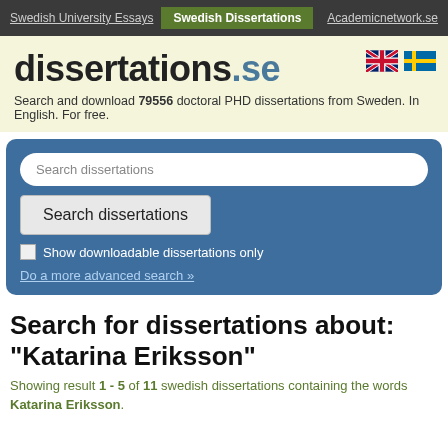Swedish University Essays | Swedish Dissertations | Academicnetwork.se
dissertations.se
Search and download 79556 doctoral PHD dissertations from Sweden. In English. For free.
Search dissertations [search box]
Search dissertations [button]
Show downloadable dissertations only
Do a more advanced search »
Search for dissertations about: "Katarina Eriksson"
Showing result 1 - 5 of 11 swedish dissertations containing the words Katarina Eriksson.